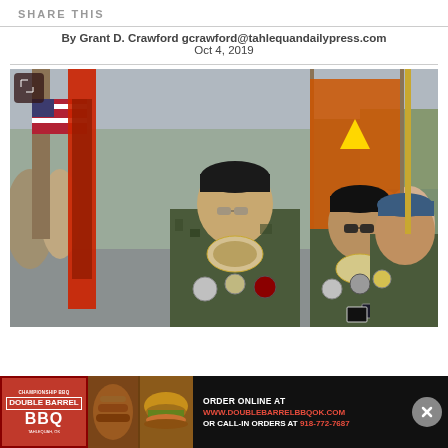SHARE THIS
By Grant D. Crawford gcrawford@tahlequandailypress.com
Oct 4, 2019
[Figure (photo): Three Native American veterans in camouflage uniforms wearing berets and traditional medallions march in a parade carrying flags including what appears to be a tribal flag with a yellow star on orange background and an American flag.]
[Figure (infographic): Advertisement for Double Barrel BBQ showing logo, food images, and text: ORDER ONLINE AT WWW.DOUBLEBARRELBBOOK.COM OR CALL-IN ORDERS AT 918-772-7687]